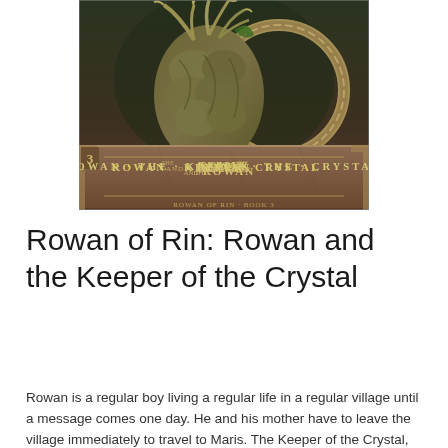[Figure (illustration): Book cover for 'Rowan and the Keeper of the Crystal' (Book 3 of the Rowan of Rin series). Shows a muscular tree-like creature with bark-like skin, branches or antlers, holding a circular rope or vine wreath. The bottom portion has a stone-textured banner with the title text 'ROWAN AND THE KEEPER OF THE CRYSTAL' in ornate lettering, with the number 3 on the left.]
Rowan of Rin: Rowan and the Keeper of the Crystal
Rowan is a regular boy living a regular life in a regular village until a message comes one day. He and his mother have to leave the village immediately to travel to Maris. The Keeper of the Crystal, who lives there, is dying, and it's up to Rowan's mother, as the Chooser, to pick the next keeper. If a new Keeper is not chosen before the